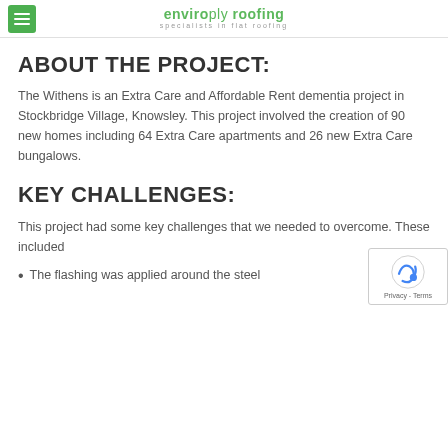enviroply roofing – specialists in flat roofing
ABOUT THE PROJECT:
The Withens is an Extra Care and Affordable Rent dementia project in Stockbridge Village, Knowsley. This project involved the creation of 90 new homes including 64 Extra Care apartments and 26 new Extra Care bungalows.
KEY CHALLENGES:
This project had some key challenges that we needed to overcome. These included
The flashing was applied around the steel